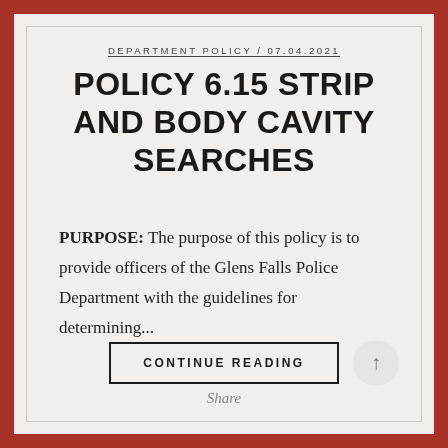DEPARTMENT POLICY / 07.04.2021
POLICY 6.15 STRIP AND BODY CAVITY SEARCHES
PURPOSE: The purpose of this policy is to provide officers of the Glens Falls Police Department with the guidelines for determining...
CONTINUE READING
Share